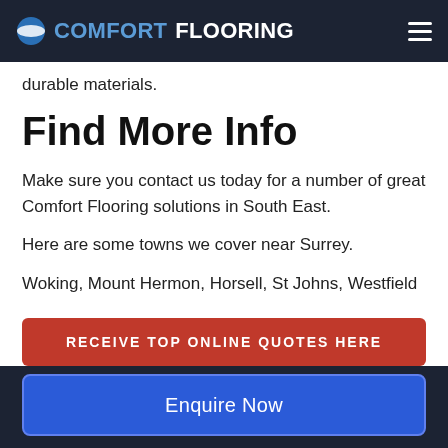COMFORT FLOORING
durable materials.
Find More Info
Make sure you contact us today for a number of great Comfort Flooring solutions in South East.
Here are some towns we cover near Surrey.
Woking, Mount Hermon, Horsell, St Johns, Westfield
RECEIVE TOP ONLINE QUOTES HERE
Enquire Now